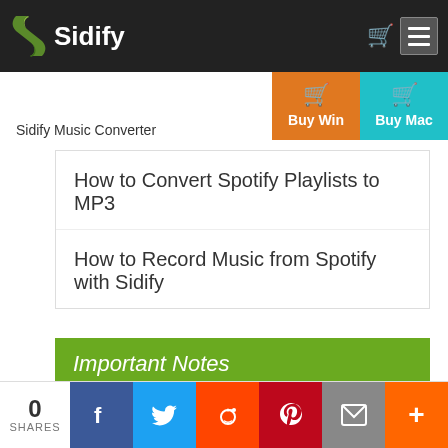Sidify
Sidify Music Converter
How to Convert Spotify Playlists to MP3
How to Record Music from Spotify with Sidify
Important Notes
Sidify strictly complies with the US copyright regulations. We adopt a leading technology to record the unencrypted audio data which is outputted to the system sound device, with the
0 SHARES